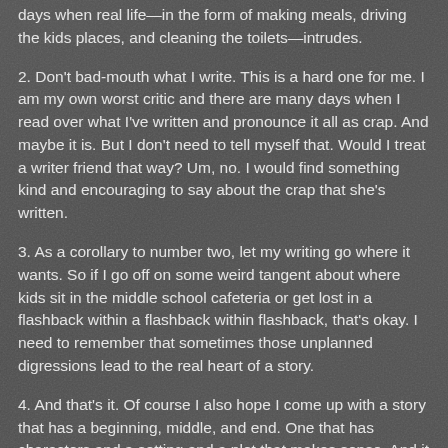days when real life—in the form of making meals, driving the kids places, and cleaning the toilets—intrudes.
2. Don't bad-mouth what I write. This is a hard one for me. I am my own worst critic and there are many days when I read over what I've written and pronounce it all as crap. And maybe it is. But I don't need to tell myself that. Would I treat a writer friend that way? Um, no. I would find something kind and encouraging to say about the crap that she's written.
3. As a corollary to number two, let my writing go where it wants. So if I go off on some weird tangent about where kids sit in the middle school cafeteria or get lost in a flashback within a flashback within flashback, that's okay. I need to remember that sometimes those unplanned digressions lead to the real heart of a story.
4. And that's it. Of course I also hope I come up with a story that has a beginning, middle, and end. One that has characters and a setting and a plot that makes sense. And it would be nice if it had a point. But maybe some of this will have to come with the second draft.